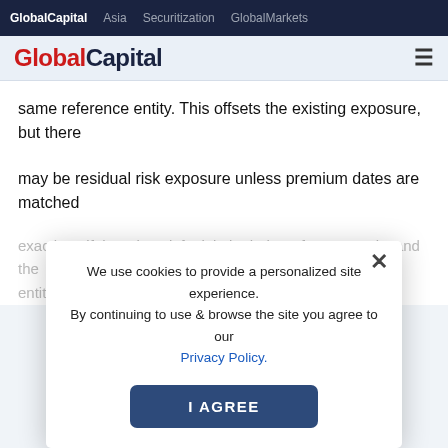GlobalCapital  Asia  Securitization  GlobalMarkets
GlobalCapital
same reference entity. This offsets the existing exposure, but there
may be residual risk exposure unless premium dates are matched
exactly or if there is a default in both the reference entity and the
swap counterparty;
We use cookies to provide a personalized site experience. By continuing to use & browse the site you agree to our Privacy Policy.
I AGREE
* unwinding or terminating with the counterparty;